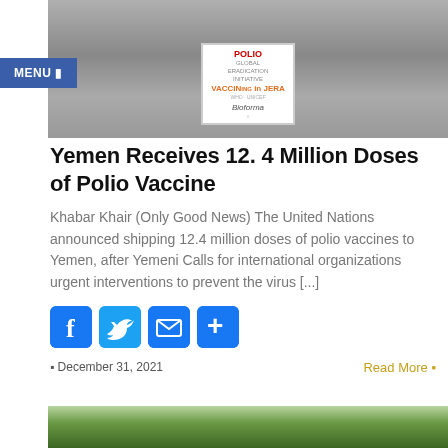[Figure (photo): Two people standing in front of stacked boxes with a Polio vaccination campaign sign reading 'POLIO ... VACCIN... JERA' with Bioforma branding]
MENU ■
Yemen Receives 12. 4 Million Doses of Polio Vaccine
Khabar Khair (Only Good News) The United Nations announced shipping 12.4 million doses of polio vaccines to Yemen, after Yemeni Calls for international organizations urgent interventions to prevent the virus [...]
[Figure (infographic): Social sharing buttons: Facebook (f), Twitter (bird), Email (envelope), More (+)]
■ December 31, 2021
Read More ■
[Figure (photo): Partial bottom image showing trees and greenery]